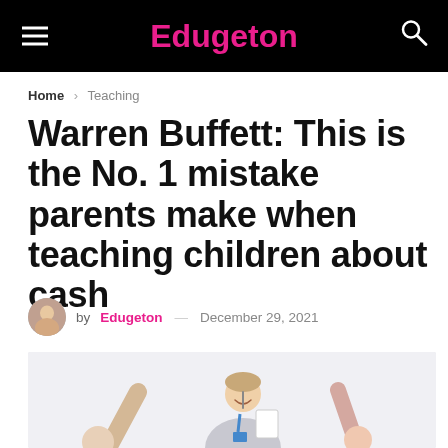Edugeton
Home > Teaching
Warren Buffett: This is the No. 1 mistake parents make when teaching children about cash
by Edugeton — December 29, 2021
[Figure (photo): A smiling young male teacher holding a document with students raising hands in a classroom setting]